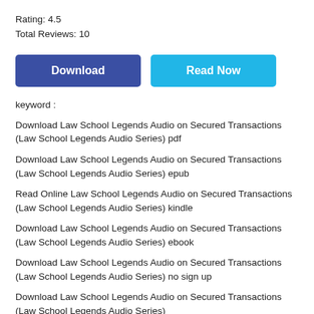Rating: 4.5
Total Reviews: 10
[Figure (other): Download and Read Now buttons]
keyword :
Download Law School Legends Audio on Secured Transactions (Law School Legends Audio Series) pdf
Download Law School Legends Audio on Secured Transactions (Law School Legends Audio Series) epub
Read Online Law School Legends Audio on Secured Transactions (Law School Legends Audio Series) kindle
Download Law School Legends Audio on Secured Transactions (Law School Legends Audio Series) ebook
Download Law School Legends Audio on Secured Transactions (Law School Legends Audio Series) no sign up
Download Law School Legends Audio on Secured Transactions (Law School Legends Audio Series)